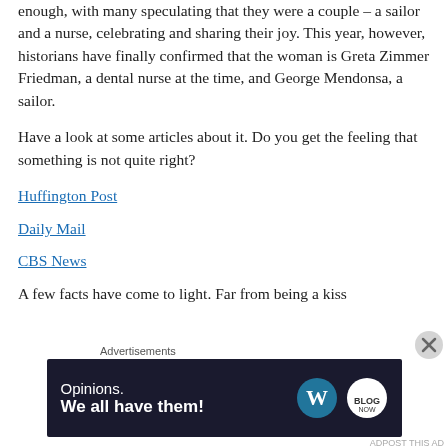enough, with many speculating that they were a couple – a sailor and a nurse, celebrating and sharing their joy. This year, however, historians have finally confirmed that the woman is Greta Zimmer Friedman, a dental nurse at the time, and George Mendonsa, a sailor.
Have a look at some articles about it. Do you get the feeling that something is not quite right?
Huffington Post
Daily Mail
CBS News
A few facts have come to light. Far from being a kiss
[Figure (other): Advertisement banner: dark navy background with text 'Opinions. We all have them!' alongside WordPress and another circular logo icon. Labeled 'Advertisements' above the banner.]